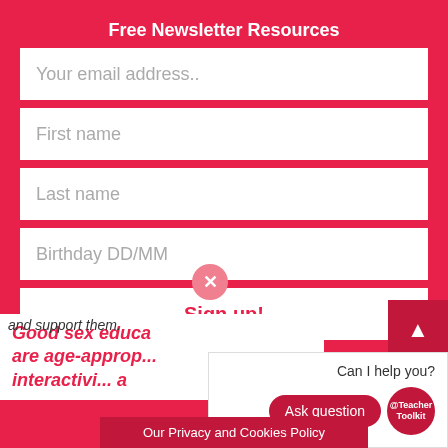Free Newsletter Resources
Your email address..
First name
Last name
Birthday DD/MM
Sign up!
and support them.
Good sex educa... are age-approp... interactivi... a
Can I help you?
Ask question
@Teacher Toolkit
Our Privacy and Cookies Policy